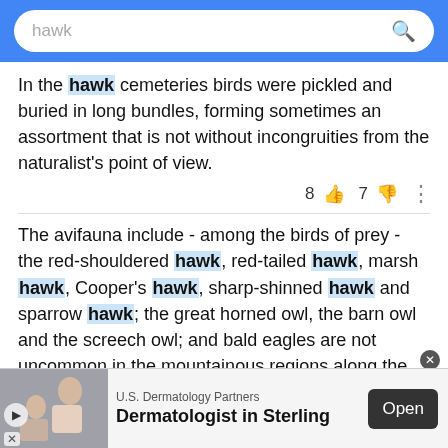hawk [search bar]
In the hawk cemeteries birds were pickled and buried in long bundles, forming sometimes an assortment that is not without incongruities from the naturalist's point of view.
8 👍 7 👎 ⋮
The avifauna include - among the birds of prey - the red-shouldered hawk, red-tailed hawk, marsh hawk, Cooper's hawk, sharp-shinned hawk and sparrow hawk; the great horned owl, the barn owl and the screech owl; and bald eagles are not uncommon in the mountainous regions along the larger rivers.
U.S. Dermatology Partners Dermatologist in Sterling  Open